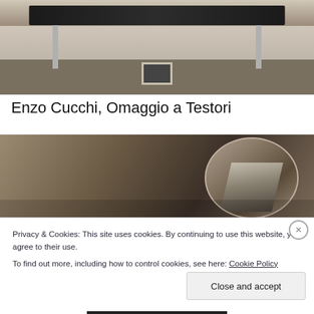[Figure (photo): Installation art photo showing a large dark table-like sculpture with metallic legs in a gallery room with stone floor and white fireplace in background]
Enzo Cucchi, Omaggio a Testori
[Figure (photo): Photo of architectural space with wooden walls and a circular cut-out revealing stone stairs and arched interior below]
Privacy & Cookies: This site uses cookies. By continuing to use this website, you agree to their use.
To find out more, including how to control cookies, see here: Cookie Policy
Close and accept